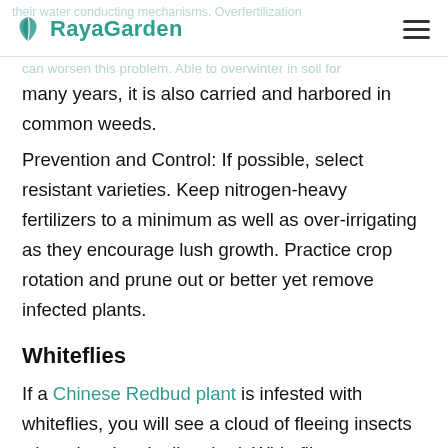RayaGarden
their water conducting mechanisms. Overfertilization can worsen this problem. Able to overwinter in soil for many years, it is also carried and harbored in common weeds.
Prevention and Control: If possible, select resistant varieties. Keep nitrogen-heavy fertilizers to a minimum as well as over-irrigating as they encourage lush growth. Practice crop rotation and prune out or better yet remove infected plants.
Whiteflies
If a Chinese Redbud plant is infested with whiteflies, you will see a cloud of fleeing insects when the plant is disturbed. Whiteflies can weaken a plant, eventually leading to plant death. They can transmit